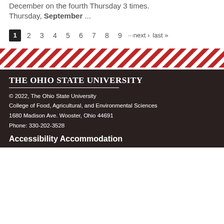December on the fourth Thursday 3 times. Thursday, September ...
1 2 3 4 5 6 7 8 9 ···next › last »
[Figure (other): Diagonal red and white stripe decorative banner]
The Ohio State University
© 2022, The Ohio State University
College of Food, Agricultural, and Environmental Sciences
1680 Madison Ave.  Wooster, Ohio 44691
Phone: 330-202-3528
Accessibility Accommodation